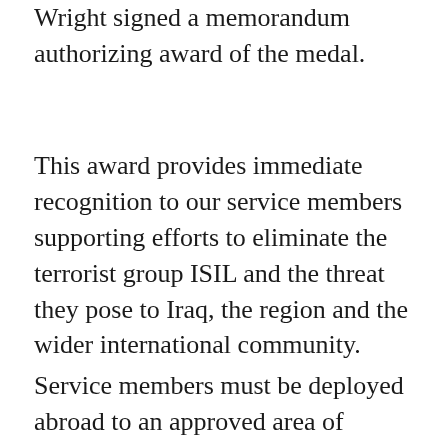Wright signed a memorandum authorizing award of the medal.
This award provides immediate recognition to our service members supporting efforts to eliminate the terrorist group ISIL and the threat they pose to Iraq, the region and the wider international community.
Service members must be deployed abroad to an approved area of eligibility in support of Operation Inherent Resolve in order to qualify for the medal. These locations include the land, airspace, and territorial waters of: Bahrain